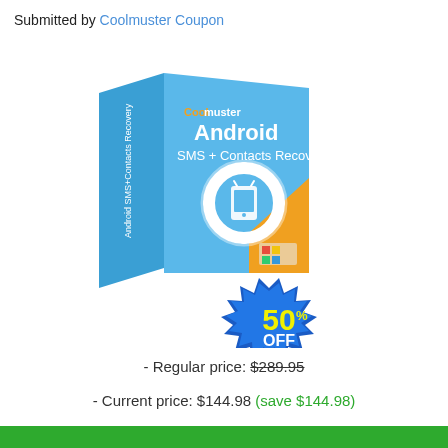Submitted by Coolmuster Coupon
[Figure (illustration): Coolmuster Android SMS + Contacts Recovery software box with a 50% OFF badge seal]
- Regular price: $289.95
- Current price: $144.98 (save $144.98)